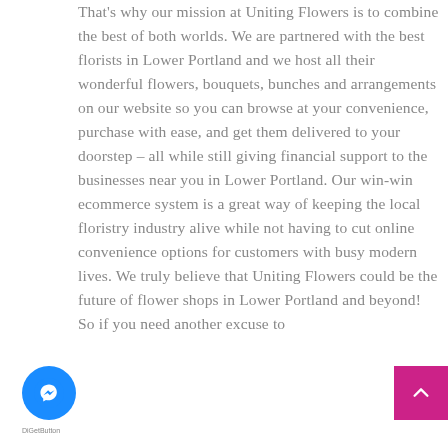That's why our mission at Uniting Flowers is to combine the best of both worlds. We are partnered with the best florists in Lower Portland and we host all their wonderful flowers, bouquets, bunches and arrangements on our website so you can browse at your convenience, purchase with ease, and get them delivered to your doorstep – all while still giving financial support to the businesses near you in Lower Portland. Our win-win ecommerce system is a great way of keeping the local floristry industry alive while not having to cut online convenience options for customers with busy modern lives. We truly believe that Uniting Flowers could be the future of flower shops in Lower Portland and beyond! So if you need another excuse to